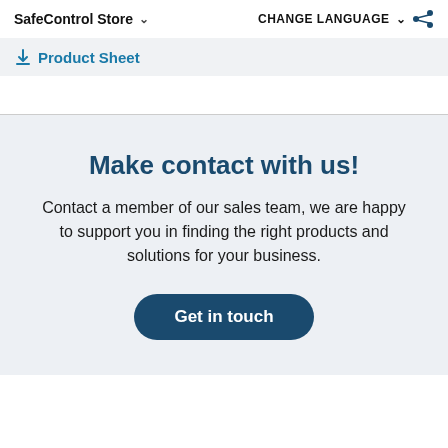SafeControl Store    CHANGE LANGUAGE
Product Sheet
Make contact with us!
Contact a member of our sales team, we are happy to support you in finding the right products and solutions for your business.
Get in touch